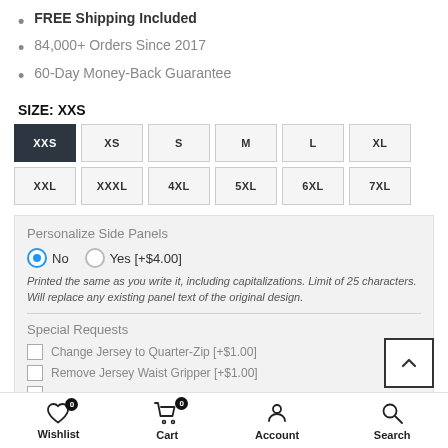FREE Shipping Included
84,000+ Orders Since 2017
60-Day Money-Back Guarantee
SIZE: XXS
XXS XS S M L XL XXL XXXL 4XL 5XL 6XL 7XL (size selector buttons)
Personalize Side Panels
No  Yes [+$4.00]
Printed the same as you write it, including capitalizations. Limit of 25 characters. Will replace any existing panel text of the original design.
Special Requests
Change Jersey to Quarter-Zip [+$1.00]
Remove Jersey Waist Gripper [+$1.00]
Wishlist  Cart  Account  Search